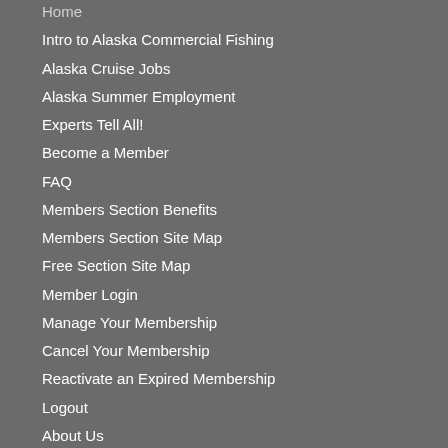Home
Intro to Alaska Commercial Fishing
Alaska Cruise Jobs
Alaska Summer Employment
Experts Tell All!
Become a Member
FAQ
Members Section Benefits
Members Section Site Map
Free Section Site Map
Member Login
Manage Your Membership
Cancel Your Membership
Reactivate an Expired Membership
Logout
About Us
Contact Us
Service Agreement
Privacy Policy